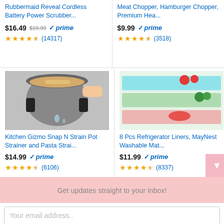Rubbermaid Reveal Cordless Battery Power Scrubber...
$16.49 $19.99 ✓prime (14317)
Meat Chopper, Hamburger Chopper, Premium Hea...
$9.99 ✓prime (3518)
[Figure (photo): Kitchen Gizmo Snap N Strain pot strainer with pasta draining from pot]
Kitchen Gizmo Snap N Strain Pot Strainer and Pasta Strai...
$14.99 ✓prime (6106)
[Figure (photo): Refrigerator liners in various colors lining fridge drawer with vegetables]
8 Pcs Refrigerator Liners, MayNest Washable Mat...
$11.99 ✓prime (8337)
Get updates straight to your inbox!
Your email address..
SUBSCRIBE AND CONSENT